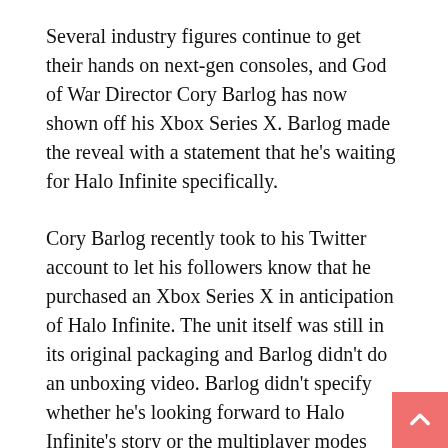Several industry figures continue to get their hands on next-gen consoles, and God of War Director Cory Barlog has now shown off his Xbox Series X. Barlog made the reveal with a statement that he's waiting for Halo Infinite specifically.
Cory Barlog recently took to his Twitter account to let his followers know that he purchased an Xbox Series X in anticipation of Halo Infinite. The unit itself was still in its original packaging and Barlog didn't do an unboxing video. Barlog didn't specify whether he's looking forward to Halo Infinite's story or the multiplayer modes more, but it's clear that he's eagerly awaiting the 2021 release.
Thanks to the popularity of the next-gen consoles and the scalping that continues to take place, many gamers haven't been able to secure their latest consoles. Just like PS5 units, Xbox Series X/S consoles are still hard to